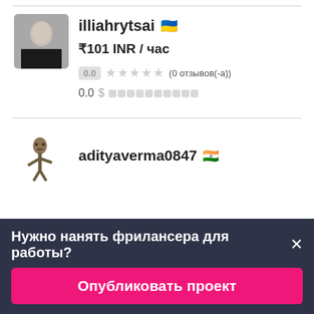[Figure (photo): Profile photo of illiahrytsai, a person in dark clothing against white background]
illiahrytsai 🇺🇦
₹101 INR / час
0.0 ★★★★★ (0 отзывов(-а))
0.0 $▓▓▓▓▓▓▓▓▓▓
[Figure (illustration): Cartoon character (Groot-like figure) as profile avatar for adityaverma0847]
adityaverma0847 🇮🇳
Нужно нанять фрилансера для работы?
Опубликовать проект